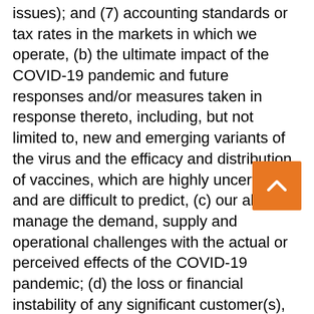issues); and (7) accounting standards or tax rates in the markets in which we operate, (b) the ultimate impact of the COVID-19 pandemic and future responses and/or measures taken in response thereto, including, but not limited to, new and emerging variants of the virus and the efficacy and distribution of vaccines, which are highly uncertain and are difficult to predict, (c) our ability to manage the demand, supply and operational challenges with the actual or perceived effects of the COVID-19 pandemic; (d) the loss or financial instability of any significant customer(s), including as a result of product recalls or safety concerns related to our products, (e) changes in consumer behavior, trends and preferences, including health and whole grain trends, and the movement toward more inexpensive store branded products, (f) the level of success we achieve in developing and introducing new products and entering new markets, (g) our ability to implement new technology and customer requirements as required, (h) our ability to operate existing, and any new, manufacturing lines according to schedule, (i) our ability to implement and achieve our environmental, social, and governance ("ESG") goals in accordance with suppliers, regulations,